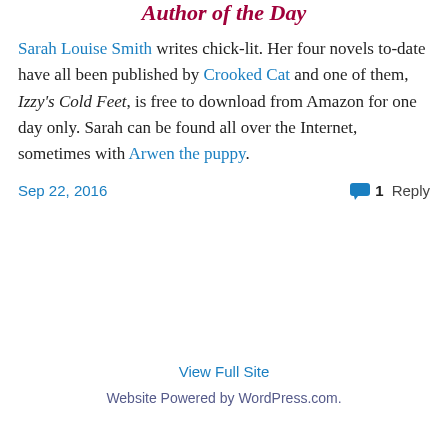Author of the Day
Sarah Louise Smith writes chick-lit. Her four novels to-date have all been published by Crooked Cat and one of them, Izzy's Cold Feet, is free to download from Amazon for one day only. Sarah can be found all over the Internet, sometimes with Arwen the puppy.
Sep 22, 2016    1 Reply
View Full Site
Website Powered by WordPress.com.